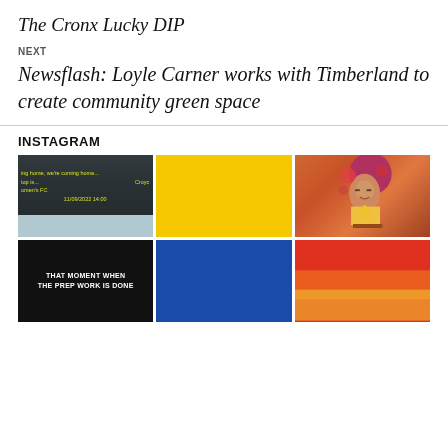The Cronx Lucky DIP
NEXT
Newsflash: Loyle Carner works with Timberland to create community green space
INSTAGRAM
[Figure (photo): Instagram grid showing 6 photos: a scoreboard display reading 'ing home, we're coming home... top is... Croydon Women's FC 11/09/2022 14:00', a solid yellow image, a colorful mural portrait, a black image with bold white text 'THAT MOMENT WHEN THE PREP WORK IS DONE', a solid blue image, and a colorful red/orange/yellow image]